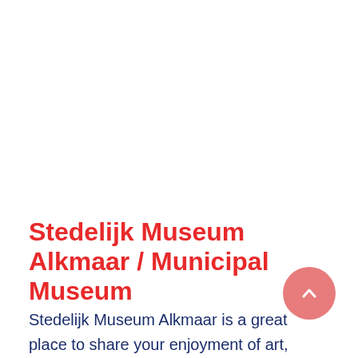Stedelijk Museum Alkmaar / Municipal Museum
Stedelijk Museum Alkmaar is a great place to share your enjoyment of art, culture and history. As well as the permanent displays, the museum stages temporary exhibitions several times a year with a diverse programme